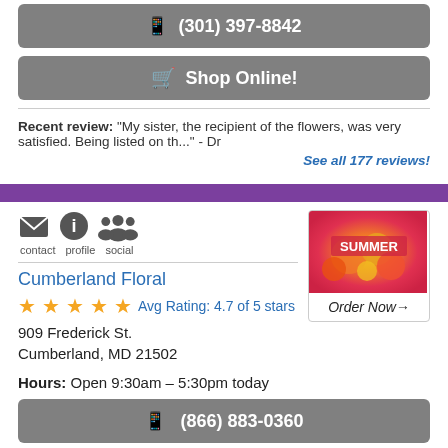(301) 397-8842
Shop Online!
Recent review: "My sister, the recipient of the flowers, was very satisfied. Being listed on th..." - Dr
See all 177 reviews!
Cumberland Floral
Avg Rating: 4.7 of 5 stars
909 Frederick St.
Cumberland, MD 21502
Hours: Open 9:30am – 5:30pm today
(866) 883-0360
(301) 777-0360
Shop Online!